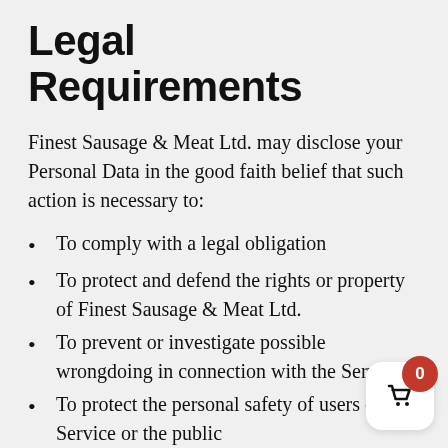Legal Requirements
Finest Sausage & Meat Ltd. may disclose your Personal Data in the good faith belief that such action is necessary to:
To comply with a legal obligation
To protect and defend the rights or property of Finest Sausage & Meat Ltd.
To prevent or investigate possible wrongdoing in connection with the Service
To protect the personal safety of users of the Service or the public
To protect against legal liability